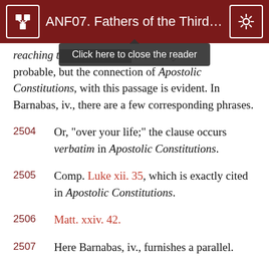ANF07. Fathers of the Third a...
reaching t... extremely probable, but the connection of Apostolic Constitutions, with this passage is evident. In Barnabas, iv., there are a few corresponding phrases.
2504  Or, “over your life;” the clause occurs verbatim in Apostolic Constitutions.
2505  Comp. Luke xii. 35, which is exactly cited in Apostolic Constitutions.
2506  Matt. xxiv. 42.
2507  Here Barnabas, iv., furnishes a parallel.
2508  This reference to the last days as present or impending is an evidence of early